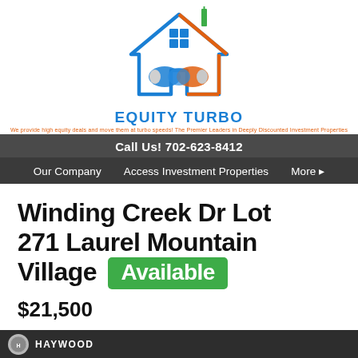[Figure (logo): Equity Turbo logo: house outline in blue and orange with handshake, blue and orange colors]
EQUITY TURBO
We provide high equity deals and move them at turbo speeds! The Premier Leaders in Deeply Discounted Investment Properties
Call Us! 702-623-8412
Our Company   Access Investment Properties   More ▸
Winding Creek Dr Lot 271 Laurel Mountain Village Available
$21,500
[Figure (screenshot): Bottom bar showing Haywood logo and website navigation, dark background]